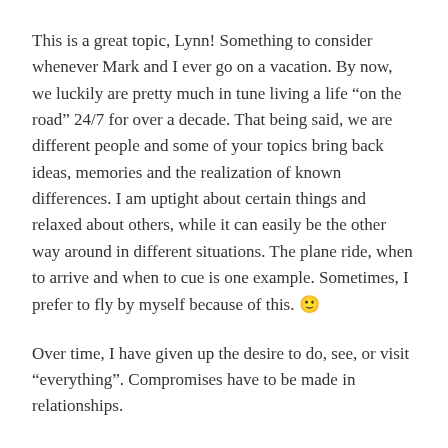This is a great topic, Lynn! Something to consider whenever Mark and I ever go on a vacation. By now, we luckily are pretty much in tune living a life “on the road” 24/7 for over a decade. That being said, we are different people and some of your topics bring back ideas, memories and the realization of known differences. I am uptight about certain things and relaxed about others, while it can easily be the other way around in different situations. The plane ride, when to arrive and when to cue is one example. Sometimes, I prefer to fly by myself because of this. 🙂
Over time, I have given up the desire to do, see, or visit “everything”. Compromises have to be made in relationships.
Have a wonderful time in Phoenix! We hope to go and warm up there at some point in March. And what’s the rumor about a smaller type RV in your future?